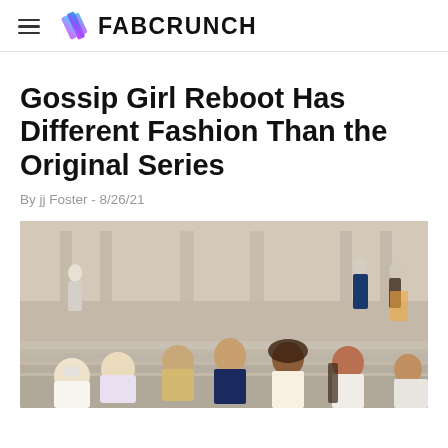FABCRUNCH
Gossip Girl Reboot Has Different Fashion Than the Original Series
By jj Foster - 8/26/21
[Figure (photo): Cast of the Gossip Girl reboot sitting on steps of a building, multiple young actors in casual and school uniforms, with background crowd and building facade.]